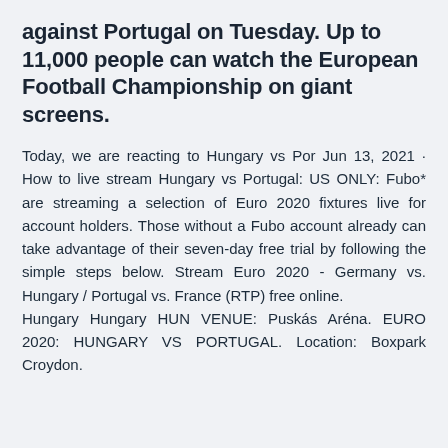against Portugal on Tuesday. Up to 11,000 people can watch the European Football Championship on giant screens.
Today, we are reacting to Hungary vs Por Jun 13, 2021 · How to live stream Hungary vs Portugal: US ONLY: Fubo* are streaming a selection of Euro 2020 fixtures live for account holders. Those without a Fubo account already can take advantage of their seven-day free trial by following the simple steps below. Stream Euro 2020 - Germany vs. Hungary / Portugal vs. France (RTP) free online.
Hungary Hungary HUN VENUE: Puskás Aréna. EURO 2020: HUNGARY VS PORTUGAL. Location: Boxpark Croydon.